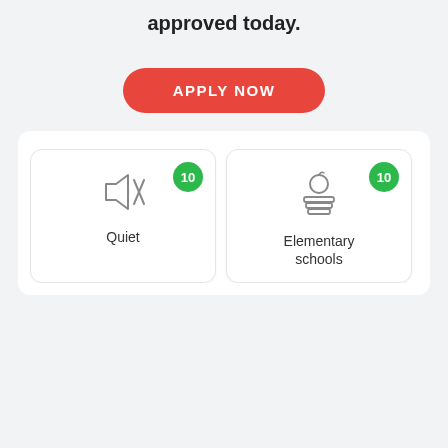Let us help you apply for a new mortgage or get pre-approved today.
[Figure (infographic): Red rounded button with white uppercase bold text reading APPLY NOW]
[Figure (infographic): Three cards in a row: Quiet (mute icon, badge 10), Elementary schools (apple/books icon, badge 10), High... (partial card with graduation cap icon)]